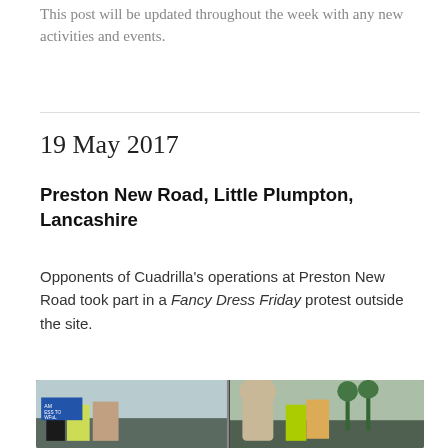This post will be updated throughout the week with any new activities and events.
19 May 2017
Preston New Road, Little Plumpton, Lancashire
Opponents of Cuadrilla’s operations at Preston New Road took part in a Fancy Dress Friday protest outside the site.
[Figure (photo): Two side-by-side photographs of protesters in fancy dress outside the Preston New Road fracking site. Left image shows protesters in costumes including a figure in a black hat and a woman with flowers in her hair. Right image shows a protester in a large rabbit/donkey costume alongside others in hi-vis vests.]